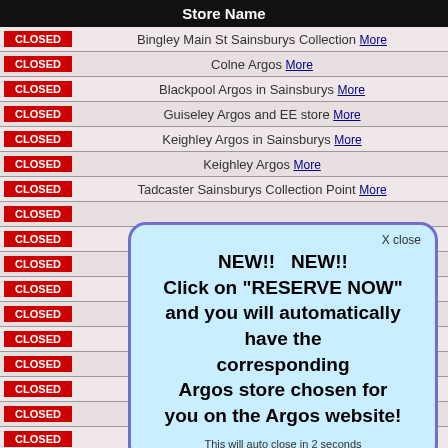| Store Name |
| --- |
| CLOSED | Bingley Main St Sainsburys Collection More |
| CLOSED | Colne Argos More |
| CLOSED | Blackpool Argos in Sainsburys More |
| CLOSED | Guiseley Argos and EE store More |
| CLOSED | Keighley Argos in Sainsburys More |
| CLOSED | Keighley Argos More |
| CLOSED | Tadcaster Sainsburys Collection Point More |
| CLOSED |  |
| CLOSED | More |
| CLOSED |  |
| CLOSED |  |
| CLOSED | More |
| CLOSED |  |
| CLOSED |  |
| CLOSED | More |
| CLOSED |  |
| CLOSED | Morecambe Argos in Sainsburys More |
| CLOSED | Ripon Argos More |
| CLOSED | Barrow in Furness Walney Road More |
| CLOSED | Northallerton Argos More |
| CLOSED | Kendal Argos in Sainsburys More |
| CLOSED |  |
NEW!!  NEW!!
Click on "RESERVE NOW"
and you will automatically have the corresponding
Argos store chosen for
you on the Argos website!

This will auto close in 2 seconds